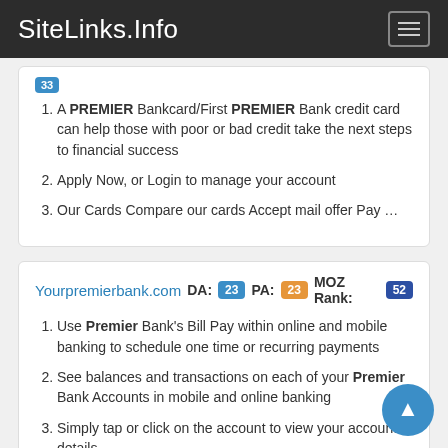SiteLinks.Info
A PREMIER Bankcard/First PREMIER Bank credit card can help those with poor or bad credit take the next steps to financial success
Apply Now, or Login to manage your account
Our Cards Compare our cards Accept mail offer Pay …
Yourpremierbank.com  DA: 23  PA: 23  MOZ Rank: 52
Use Premier Bank's Bill Pay within online and mobile banking to schedule one time or recurring payments
See balances and transactions on each of your Premier Bank Accounts in mobile and online banking
Simply tap or click on the account to view your account details.